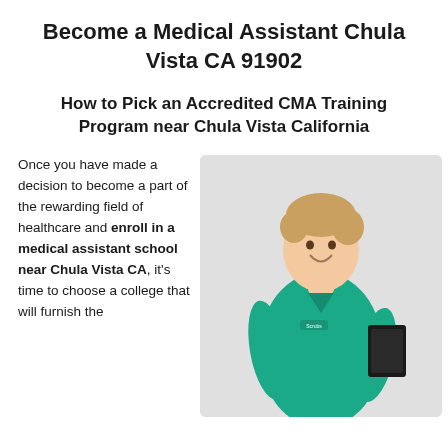Become a Medical Assistant Chula Vista CA 91902
How to Pick an Accredited CMA Training Program near Chula Vista California
Once you have made a decision to become a part of the rewarding field of healthcare and enroll in a medical assistant school near Chula Vista CA, it's time to choose a college that will furnish the
[Figure (photo): A young woman in teal/green medical scrubs smiling and holding a clipboard, posed against a light gray background.]